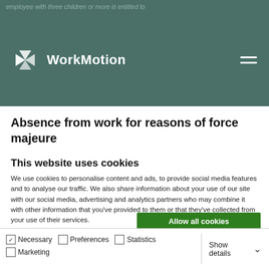employee with three children or more is entitled to
WorkMotion
Absence from work for reasons of force majeure
This website uses cookies
We use cookies to personalise content and ads, to provide social media features and to analyse our traffic. We also share information about your use of our site with our social media, advertising and analytics partners who may combine it with other information that you've provided to them or that they've collected from your use of their services.
Allow all cookies
Allow selection
Use necessary cookies only
Necessary  Preferences  Statistics  Marketing  Show details